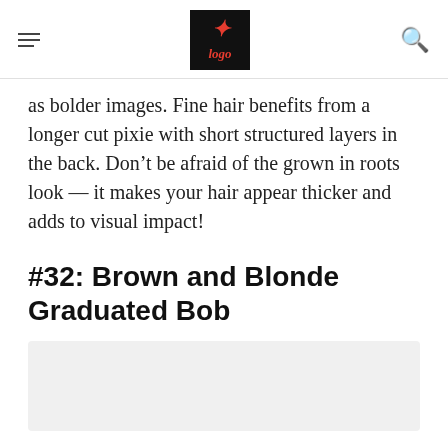[hamburger menu] [logo] [search icon]
as bolder images. Fine hair benefits from a longer cut pixie with short structured layers in the back. Don’t be afraid of the grown in roots look — it makes your hair appear thicker and adds to visual impact!
#32: Brown and Blonde Graduated Bob
[Figure (photo): Light grey placeholder image area for the Brown and Blonde Graduated Bob photo]